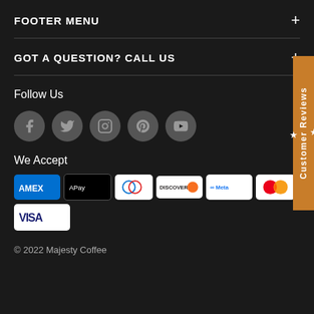FOOTER MENU +
GOT A QUESTION? CALL US +
Follow Us
[Figure (infographic): Social media icons: Facebook, Twitter, Instagram, Pinterest, YouTube]
We Accept
[Figure (infographic): Payment method badges: AMEX, Apple Pay, Diners Club, Discover, Meta Pay, Mastercard, PayPal, Google Pay, Venmo, Visa]
© 2022 Majesty Coffee
[Figure (other): Customer Reviews sidebar tab in orange on right side]